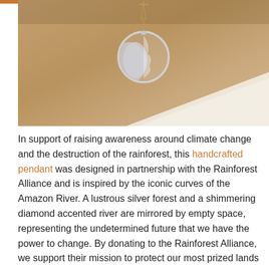[Figure (photo): A silver circular pendant necklace with a forest and river design, worn on a person's chest. The pendant hangs on a delicate gold chain. Background is kraft/cardboard brown with a white card in the lower right corner.]
In support of raising awareness around climate change and the destruction of the rainforest, this handcrafted pendant was designed in partnership with the Rainforest Alliance and is inspired by the iconic curves of the Amazon River. A lustrous silver forest and a shimmering diamond accented river are mirrored by empty space, representing the undetermined future that we have the power to change. By donating to the Rainforest Alliance, we support their mission to protect our most prized lands and in the